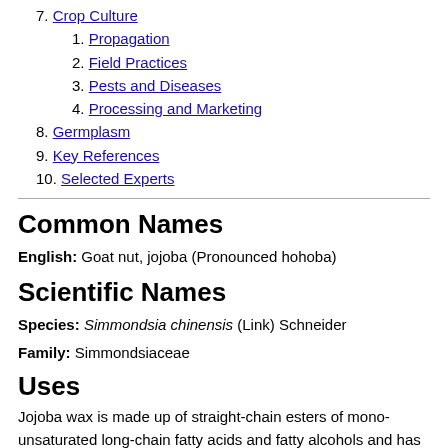7. Crop Culture
1. Propagation
2. Field Practices
3. Pests and Diseases
4. Processing and Marketing
8. Germplasm
9. Key References
10. Selected Experts
Common Names
English: Goat nut, jojoba (Pronounced hohoba)
Scientific Names
Species: Simmondsia chinensis (Link) Schneider
Family: Simmondsiaceae
Uses
Jojoba wax is made up of straight-chain esters of mono-unsaturated long-chain fatty acids and fatty alcohols and has an